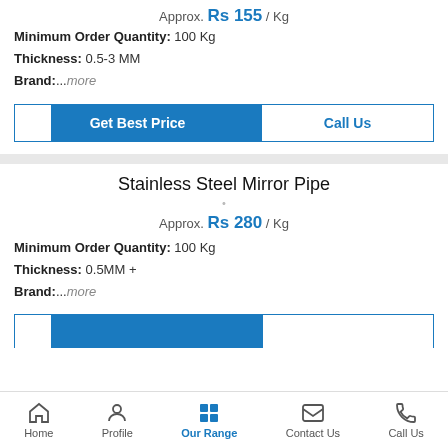Approx. Rs 155 / Kg
Minimum Order Quantity: 100 Kg
Thickness: 0.5-3 MM
Brand:...more
[Figure (screenshot): Get Best Price and Call Us buttons]
Stainless Steel Mirror Pipe
Approx. Rs 280 / Kg
Minimum Order Quantity: 100 Kg
Thickness: 0.5MM +
Brand:...more
Home | Profile | Our Range | Contact Us | Call Us